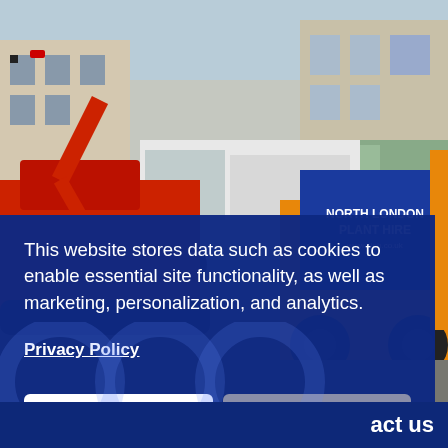[Figure (photo): Construction site photo showing red excavator with 'North London Plant Hire' branding and orange/yellow dumper truck. A white van is visible in the background on a street with buildings.]
This website stores data such as cookies to enable essential site functionality, as well as marketing, personalization, and analytics.
Privacy Policy
Accept
Deny
act us